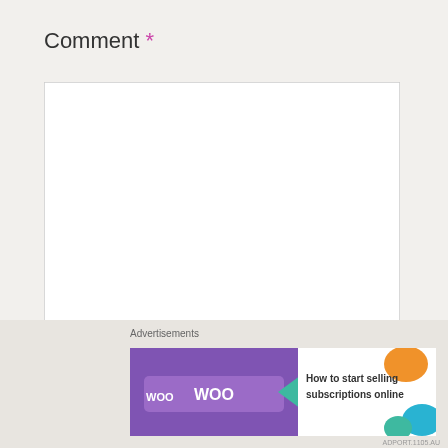Comment *
[Figure (screenshot): Empty comment textarea input field with resize handle]
Name *
[Figure (screenshot): Empty name text input field]
Email *
[Figure (screenshot): Advertisement banner: WooCommerce - How to start selling subscriptions online]